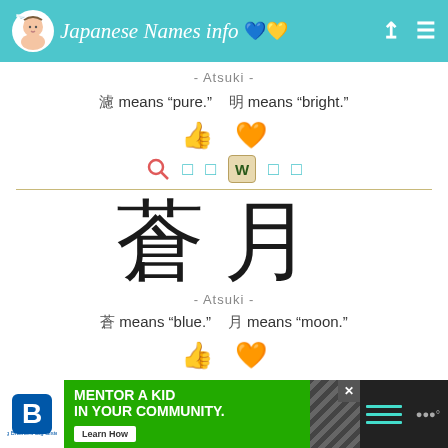Japanese Names info
- Atsuki -
〇 means "pure."   〇 means "bright."
[Figure (infographic): Thumbs up and heart emoji icons for liking/favoriting]
[Figure (infographic): Search, share and Wikipedia icons row]
[Figure (illustration): Large Japanese kanji characters 蒼月 displayed in brush calligraphy style]
- Atsuki -
〇 means "blue."   〇 means "moon."
[Figure (infographic): Thumbs up and heart emoji icons for liking/favoriting]
[Figure (infographic): Big Brothers Big Sisters - Mentor a Kid in Your Community advertisement banner]